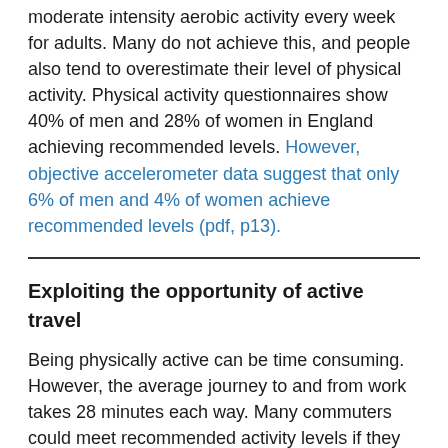moderate intensity aerobic activity every week for adults. Many do not achieve this, and people also tend to overestimate their level of physical activity. Physical activity questionnaires show 40% of men and 28% of women in England achieving recommended levels. However, objective accelerometer data suggest that only 6% of men and 4% of women achieve recommended levels (pdf, p13).
Exploiting the opportunity of active travel
Being physically active can be time consuming. However, the average journey to and from work takes 28 minutes each way. Many commuters could meet recommended activity levels if they walked or cycled for at least part of their journeys.
In the Commuting and Health in Cambridge study, Panter et al (2013) showed that commuters who include walking or cycling as part of their car journeys reported an average of 12 minutes walking or 17 minutes cycling to